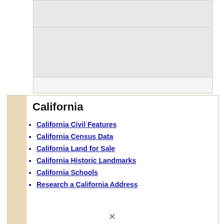[Figure (other): Three stacked gray rectangular image placeholder blocks]
California
California Civil Features
California Census Data
California Land for Sale
California Historic Landmarks
California Schools
Research a California Address